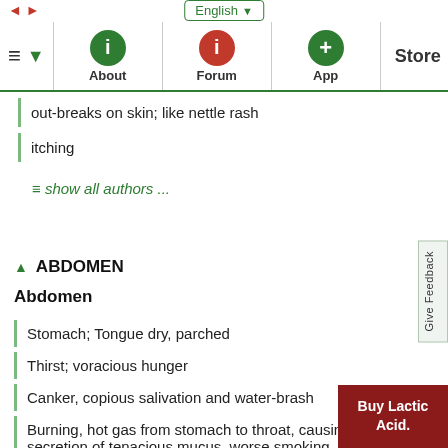English ▼  ≡  ▼  About  Forum  App  Store
out-breaks on skin; like nettle rash
itching
≡ show all authors ...
▲  ABDOMEN
Abdomen
Stomach; Tongue dry, parched
Thirst; voracious hunger
Canker, copious salivation and water-brash
Burning, hot gas from stomach to throat, causing profuse secretion of tenacious mucus, worse smoking.